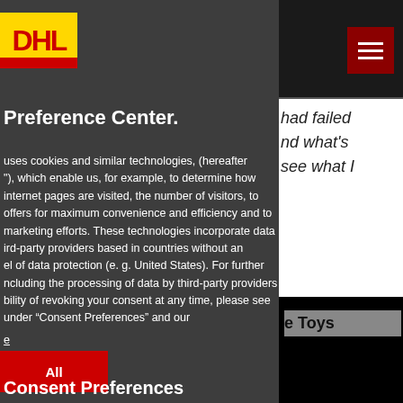[Figure (logo): DHL logo — yellow rectangle with red DHL text and red stripe at bottom]
[Figure (screenshot): Hamburger menu icon — dark red/maroon square button with three white horizontal lines]
had failed
nd what's
see what I
Preference Center.
uses cookies and similar technologies, (hereafter
"), which enable us, for example, to determine how
internet pages are visited, the number of visitors, to
offers for maximum convenience and efficiency and to
marketing efforts. These technologies incorporate data
ird-party providers based in countries without an
el of data protection (e. g. United States). For further
ncluding the processing of data by third-party providers
bility of revoking your consent at any time, please see
under “Consent Preferences” and our
e
e Toys
All
Consent Preferences